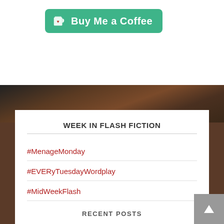[Figure (other): Buy Me a Coffee green button with coffee cup icon and heart]
[Figure (photo): Background photo of leather braided items / chains on dark wood]
WEEK IN FLASH FICTION
#MenageMonday
#EVERyTuesdayWordplay
#MidWeekFlash
#ThursThreads
#SwiftFicFriday
RECENT POSTS